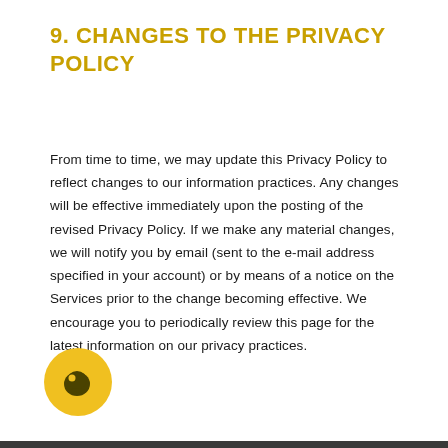9. CHANGES TO THE PRIVACY POLICY
From time to time, we may update this Privacy Policy to reflect changes to our information practices. Any changes will be effective immediately upon the posting of the revised Privacy Policy. If we make any material changes, we will notify you by email (sent to the e-mail address specified in your account) or by means of a notice on the Services prior to the change becoming effective. We encourage you to periodically review this page for the latest information on our privacy practices.
[Figure (logo): Round yellow circle with a dark olive chat bubble / face icon inside]